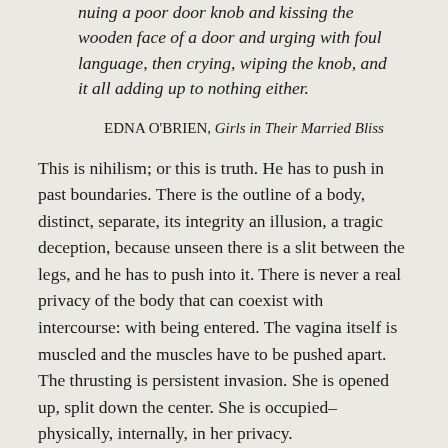nuing a poor door knob and kissing the wooden face of a door and urging with foul language, then crying, wiping the knob, and it all adding up to nothing either.
EDNA O'BRIEN, Girls in Their Married Bliss
This is nihilism; or this is truth. He has to push in past boundaries. There is the outline of a body, distinct, separate, its integrity an illusion, a tragic deception, because unseen there is a slit between the legs, and he has to push into it. There is never a real privacy of the body that can coexist with intercourse: with being entered. The vagina itself is muscled and the muscles have to be pushed apart. The thrusting is persistent invasion. She is opened up, split down the center. She is occupied–physically, internally, in her privacy.
A human being has a body that is inviolate; and when